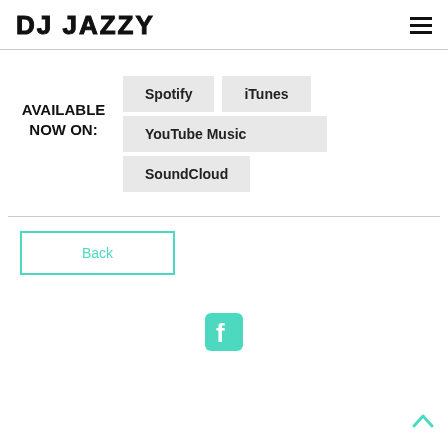DJ JAZZY
AVAILABLE NOW ON:
Spotify
iTunes
YouTube Music
SoundCloud
Back
[Figure (logo): Facebook social media icon in teal/turquoise color]
^ (scroll to top arrow)